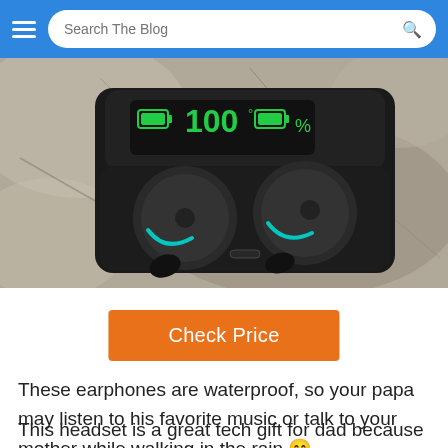Search The Blog
[Figure (photo): Wireless earbuds in a black charging case showing 100% battery on an LED display, placed on a tree stump]
Check Price
These earphones are waterproof, so your papa may listen to his favorite music or talk to your mother while walking in the rain 😊
This headset is a great tech gift for dad because it has a USB charging case that quickly charges the